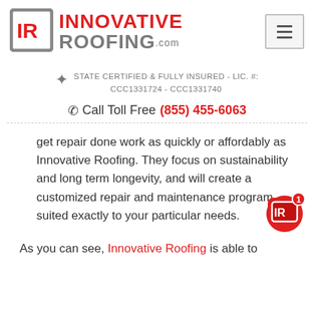[Figure (logo): Innovative Roofing logo with IR icon in grey square border and red/grey text, plus hamburger menu button]
STATE CERTIFIED & FULLY INSURED - LIC. #: CCC1331724 - CCC1331740
Call Toll Free (855) 455-6063
get repair done work as quickly or affordably as Innovative Roofing. They focus on sustainability and long term longevity, and will create a customized repair and maintenance program suited exactly to your particular needs.
As you can see, Innovative Roofing is able to